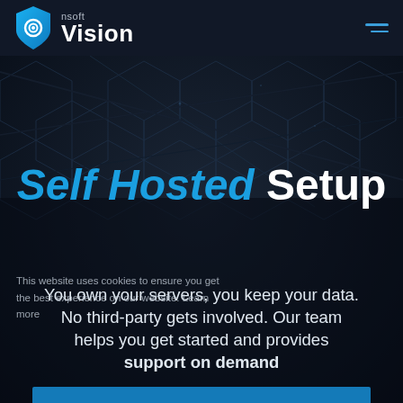[Figure (logo): nsoft Vision logo with blue shield/eye icon on dark header bar]
[Figure (screenshot): Dark tech/hexagonal background with geometric pattern]
Self Hosted Setup
You own your servers, you keep your data. No third-party gets involved. Our team helps you get started and provides support on demand
This website uses cookies to ensure you get the best experience on our website. Learn more
Got it!
Running a high-risk business demands an enterprise solution with strong security